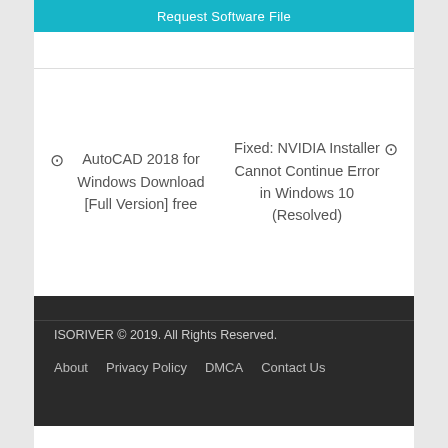Request Software File
AutoCAD 2018 for Windows Download [Full Version] free
Fixed: NVIDIA Installer Cannot Continue Error in Windows 10 (Resolved)
ISORIVER © 2019. All Rights Reserved.
About   Privacy Policy   DMCA   Contact Us